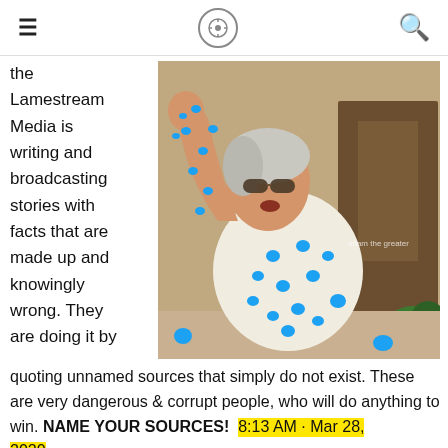≡  [logo]  🔍
the Lamestream Media is writing and broadcasting stories with facts that are made up and knowingly wrong. They are doing it by
[Figure (photo): Photo of an older woman with gray hair and sunglasses wearing a white tank top covered in blue Twitter bird logos, gesturing with her arm raised. Watermark reads 'adam the greater'.]
quoting unnamed sources that simply do not exist. These are very dangerous & corrupt people, who will do anything to win. NAME YOUR SOURCES!  8:13 AM · Mar 28, 2020